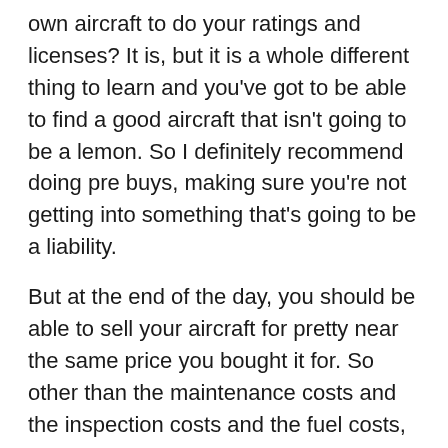own aircraft to do your ratings and licenses? It is, but it is a whole different thing to learn and you've got to be able to find a good aircraft that isn't going to be a lemon. So I definitely recommend doing pre buys, making sure you're not getting into something that's going to be a liability.
But at the end of the day, you should be able to sell your aircraft for pretty near the same price you bought it for. So other than the maintenance costs and the inspection costs and the fuel costs, you're way out ahead if you see it that way. And I know that a lot of people have done it that way. Definitely recommend doing it that way.
It's just something that maybe takes more of an investment for people to get into. It's harder to get into flying your own plane. I know that I had a student that was pushing along really well and he was doing well and his family, he and his dad were looking for an airplane to finish his training in.